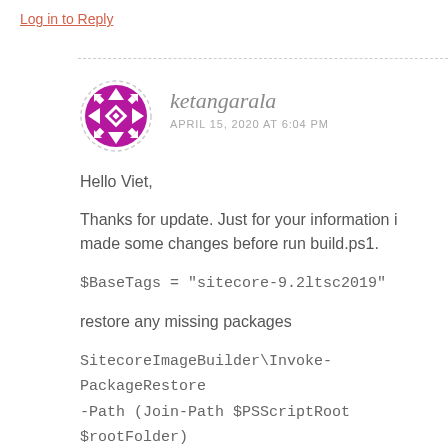Log in to Reply
ketangarala
APRIL 15, 2020 AT 6:04 PM
Hello Viet,
Thanks for update. Just for your information i made some changes before run build.ps1.
$BaseTags = "sitecore-9.2ltsc2019"
restore any missing packages
SitecoreImageBuilder\Invoke-PackageRestore -Path (Join-Path $PSScriptRoot $rootFolder)